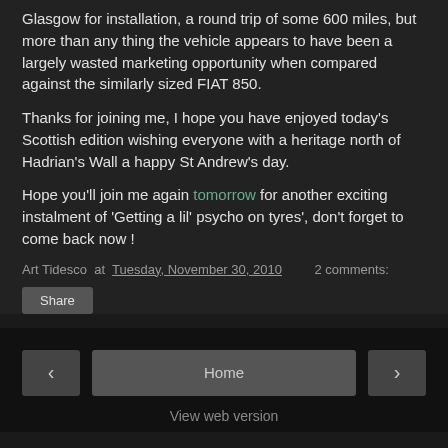Glasgow for installation, a round trip of some 600 miles, but more than any thing the vehicle appears to have been a largely wasted marketing opportunity when compared against the similarly sized FIAT 850.
Thanks for joining me, I hope you have enjoyed today's Scottish edition wishing everyone with a heritage north of Hadrian's Wall a happy St Andrew's day.
Hope you'll join me again tomorrow for another exciting instalment of 'Getting a lil' psycho on tyres', don't forget to come back now !
Art Tidesco at Tuesday, November 30, 2010  2 comments:
Share
Home  View web version